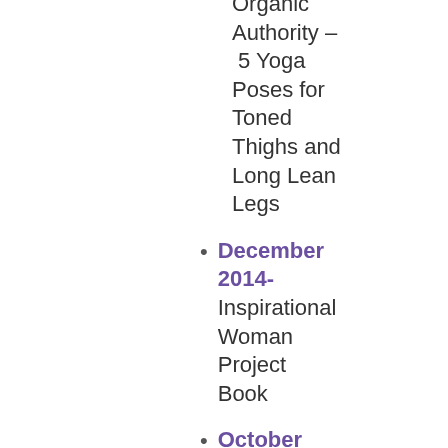Organic Authority – 5 Yoga Poses for Toned Thighs and Long Lean Legs
December 2014- Inspirational Woman Project Book
October 29, 2014- Alternative Apparel Blog – Making Moves Feature
September